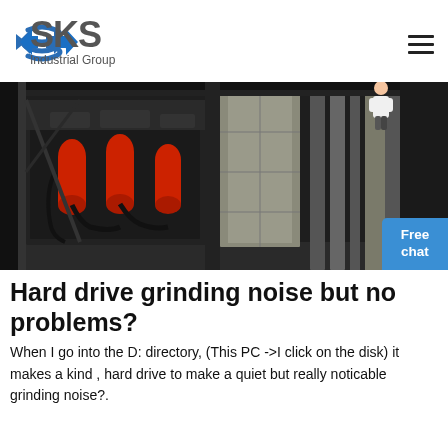[Figure (logo): SKS Industrial Group logo with blue angular S-shaped icon and gray text 'SKS Industrial Group']
[Figure (photo): Industrial machinery photo showing large equipment with red cylindrical components and black metal framework in a factory setting]
Hard drive grinding noise but no problems?
When I go into the D: directory, (This PC ->I click on the disk) it makes a kind , hard drive to make a quiet but really noticable grinding noise?.